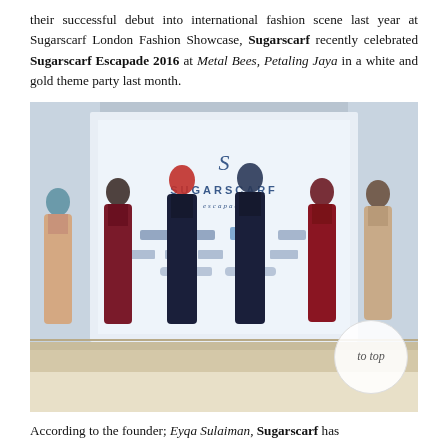their successful debut into international fashion scene last year at Sugarscarf London Fashion Showcase, Sugarscarf recently celebrated Sugarscarf Escapade 2016 at Metal Bees, Petaling Jaya in a white and gold theme party last month.
[Figure (photo): Fashion show photo showing six female models wearing hijabs and modest fashion garments standing on a stage in front of a Sugarscarf Escapade branded backdrop.]
According to the founder; Eyqa Sulaiman, Sugarscarf has